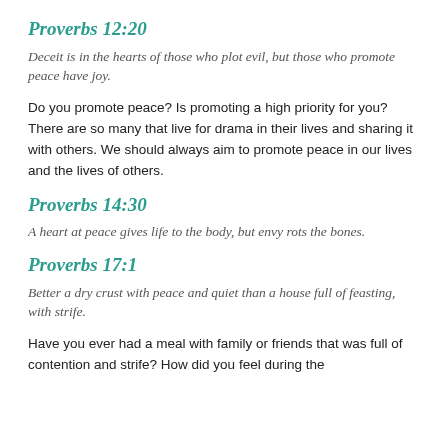Proverbs 12:20
Deceit is in the hearts of those who plot evil, but those who promote peace have joy.
Do you promote peace? Is promoting a high priority for you? There are so many that live for drama in their lives and sharing it with others. We should always aim to promote peace in our lives and the lives of others.
Proverbs 14:30
A heart at peace gives life to the body, but envy rots the bones.
Proverbs 17:1
Better a dry crust with peace and quiet than a house full of feasting, with strife.
Have you ever had a meal with family or friends that was full of contention and strife? How did you feel during the